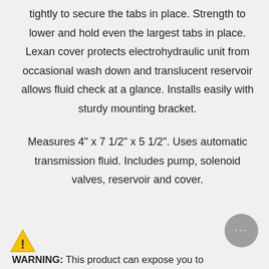tightly to secure the tabs in place. Strength to lower and hold even the largest tabs in place. Lexan cover protects electrohydraulic unit from occasional wash down and translucent reservoir allows fluid check at a glance. Installs easily with sturdy mounting bracket.
Measures 4" x 7 1/2" x 5 1/2". Uses automatic transmission fluid. Includes pump, solenoid valves, reservoir and cover.
WARNING: This product can expose you to